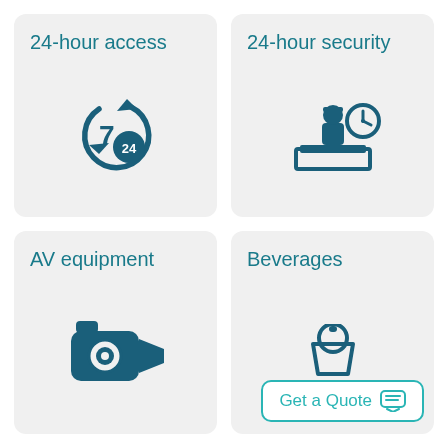[Figure (infographic): Four feature cards in a 2x2 grid: 24-hour access with 7/24 circular arrow icon, 24-hour security with security desk and clock icon, AV equipment with video camera icon, Beverages with a beverage icon and a Get a Quote button]
24-hour access
24-hour security
AV equipment
Beverages
Get a Quote